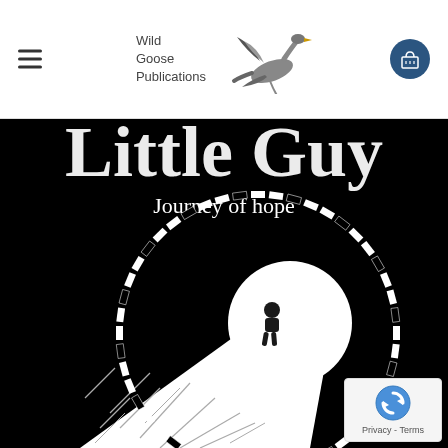[Figure (logo): Wild Goose Publications logo with flying goose illustration and text]
[Figure (illustration): Book cover for 'Little Guy: Journey of hope' — black background with white text title partially visible at top, subtitle 'Journey of hope' below, and a circular ring made of black and white rectangular segments (like piano keys) surrounding a white full moon. A small silhouette of a child sits at the edge of a cliff/rocky outcrop in front of the moon. The cliff has sketched line textures. A reCAPTCHA privacy badge appears in the bottom-right corner.]
Privacy - Terms